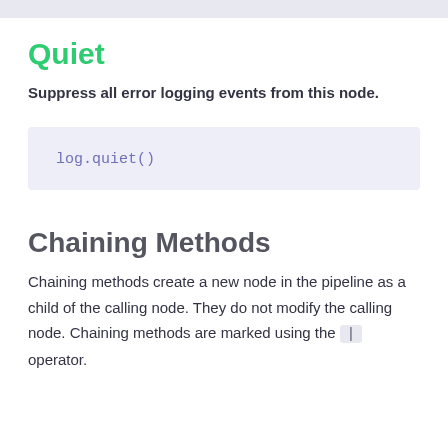Quiet
Suppress all error logging events from this node.
[Figure (screenshot): Code block showing: log.quiet()]
Chaining Methods
Chaining methods create a new node in the pipeline as a child of the calling node. They do not modify the calling node. Chaining methods are marked using the | operator.